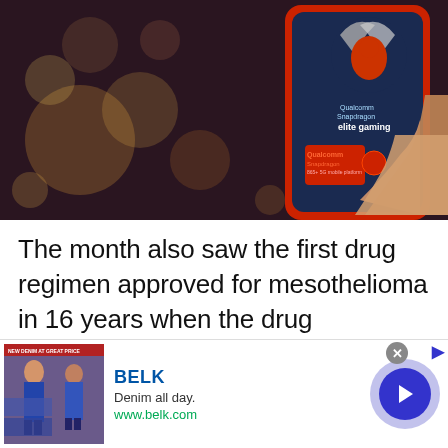[Figure (photo): Hand holding a smartphone displaying Qualcomm Snapdragon elite gaming branding and the Snapdragon 865+ 5G mobile platform logo, against a bokeh background]
The month also saw the first drug regimen approved for mesothelioma in 16 years when the drug combination of Opdivo and Yervoy was
[Figure (photo): Advertisement banner for BELK: 'Denim all day. www.belk.com' with people wearing denim clothing]